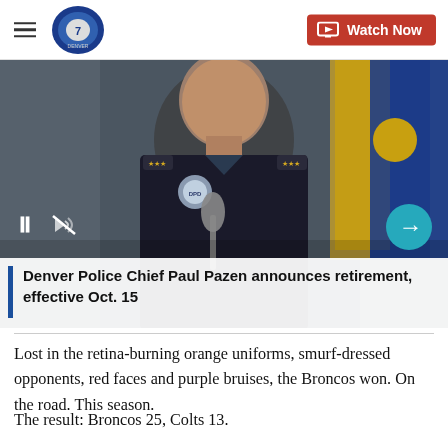Denver 7 | Watch Now
[Figure (photo): Denver Police Chief Paul Pazen speaking at a press conference in police uniform with a microphone, flags in the background. Video player controls visible.]
Denver Police Chief Paul Pazen announces retirement, effective Oct. 15
Lost in the retina-burning orange uniforms, smurf-dressed opponents, red faces and purple bruises, the Broncos won. On the road. This season.
The result: Broncos 25, Colts 13.